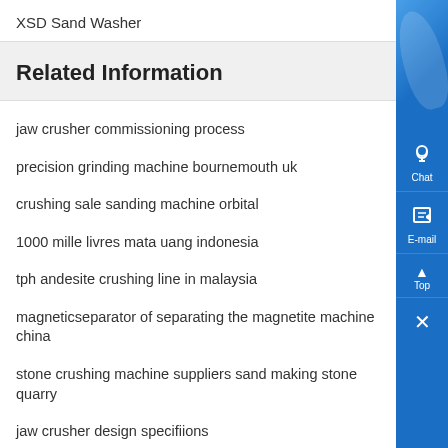XSD Sand Washer
Related Information
jaw crusher commissioning process
precision grinding machine bournemouth uk
crushing sale sanding machine orbital
1000 mille livres mata uang indonesia
tph andesite crushing line in malaysia
magneticseparator of separating the magnetite machine china
stone crushing machine suppliers sand making stone quarry
jaw crusher design specifiions